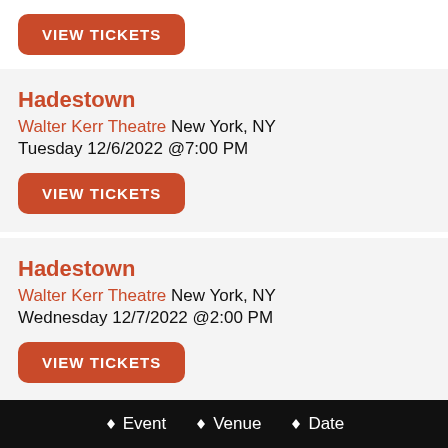VIEW TICKETS
Hadestown
Walter Kerr Theatre New York, NY
Tuesday 12/6/2022 @7:00 PM
VIEW TICKETS
Hadestown
Walter Kerr Theatre New York, NY
Wednesday 12/7/2022 @2:00 PM
VIEW TICKETS
Hadestown
Walter Kerr Theatre New York, NY
Wednesday 12/7/2022 @8:00 PM
Event  Venue  Date